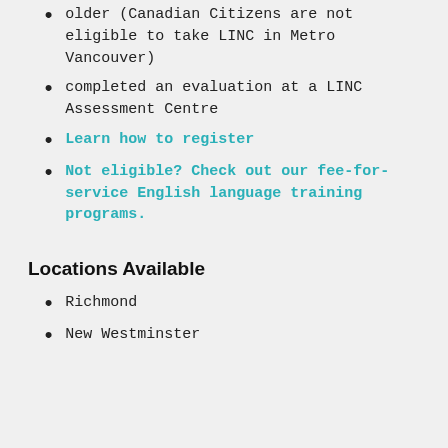older (Canadian Citizens are not eligible to take LINC in Metro Vancouver)
completed an evaluation at a LINC Assessment Centre
Learn how to register
Not eligible? Check out our fee-for-service English language training programs.
Locations Available
Richmond
New Westminster